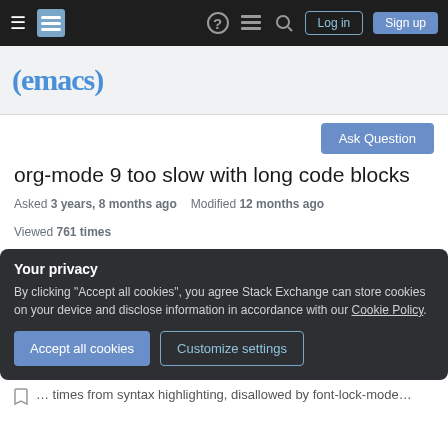Navigation bar with hamburger menu, Stack Exchange logo, help, chat, search icons, Log in and Sign up buttons
[Figure (logo): (emacs) site logo in blue on light gray background]
Ask Question
org-mode 9 too slow with long code blocks
Asked 3 years, 8 months ago    Modified 12 months ago    Viewed 761 times
Your privacy
By clicking "Accept all cookies", you agree Stack Exchange can store cookies on your device and disclose information in accordance with our Cookie Policy.
Accept all cookies    Customize settings
... times from syntax highlighting, disallowed by font-lock-mode ...